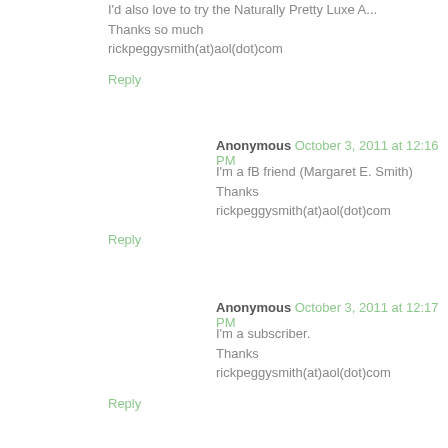I'd also love to try the Naturally Pretty Luxe A...
Thanks so much
rickpeggysmith(at)aol(dot)com
Reply
Anonymous October 3, 2011 at 12:16 PM
I'm a fB friend (Margaret E. Smith)
Thanks
rickpeggysmith(at)aol(dot)com
Reply
Anonymous October 3, 2011 at 12:17 PM
I'm a subscriber.
Thanks
rickpeggysmith(at)aol(dot)com
Reply